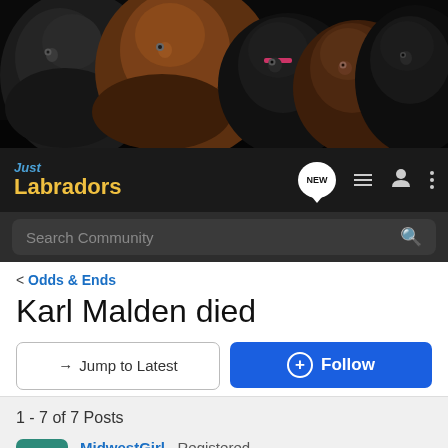[Figure (photo): Header banner showing five Labrador dogs (black, brown/tan, black puppy, chocolate, black) against a dark background]
Just Labradors — navigation bar with NEW, list, user, and menu icons, plus Search Community search bar
< Odds & Ends
Karl Malden died
→ Jump to Latest   ⊕ Follow
1 - 7 of 7 Posts
MidwestGirl · Registered
Joined Feb 12, 2009 · 26,306 Posts